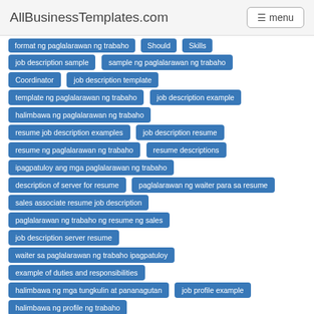AllBusinessTemplates.com  menu
format ng paglalarawan ng trabaho
Should
Skills
job description sample
sample ng paglalarawan ng trabaho
Coordinator
job description template
template ng paglalarawan ng trabaho
job description example
halimbawa ng paglalarawan ng trabaho
resume job description examples
job description resume
resume ng paglalarawan ng trabaho
resume descriptions
ipagpatuloy ang mga paglalarawan ng trabaho
description of server for resume
paglalarawan ng waiter para sa resume
sales associate resume job description
paglalarawan ng trabaho ng resume ng sales
job description server resume
waiter sa paglalarawan ng trabaho ipagpatuloy
example of duties and responsibilities
halimbawa ng mga tungkulin at pananagutan
job profile example
halimbawa ng profile ng trabaho
Karagdagang impormasyon
Mga komento
Are you looking for a Recruiting Coordinator Job